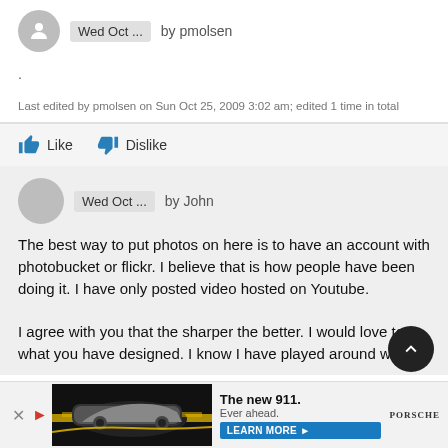Wed Oct ... by pmolsen
.
Last edited by pmolsen on Sun Oct 25, 2009 3:02 am; edited 1 time in total
Like   Dislike
Wed Oct ... by John
The best way to put photos on here is to have an account with photobucket or flickr. I believe that is how people have been doing it. I have only posted video hosted on Youtube.
I agree with you that the sharper the better. I would love to what you have designed. I know I have played around with
[Figure (screenshot): Porsche 911 advertisement banner at bottom of page showing car image and text 'The new 911. Ever ahead.' with LEARN MORE button]